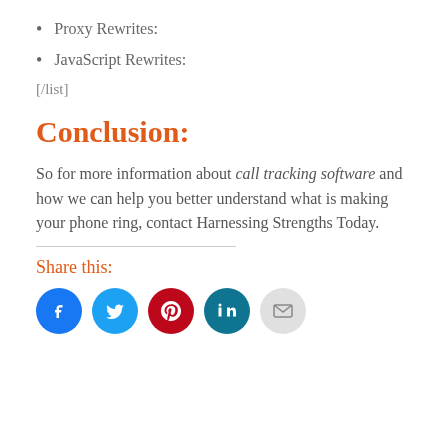Proxy Rewrites:
JavaScript Rewrites:
[/list]
Conclusion:
So for more information about call tracking software and how we can help you better understand what is making your phone ring, contact Harnessing Strengths Today.
Share this:
[Figure (other): Social sharing icons: Facebook (blue circle), Twitter (blue circle), Pinterest (red circle), LinkedIn (teal circle), Email (light gray circle)]